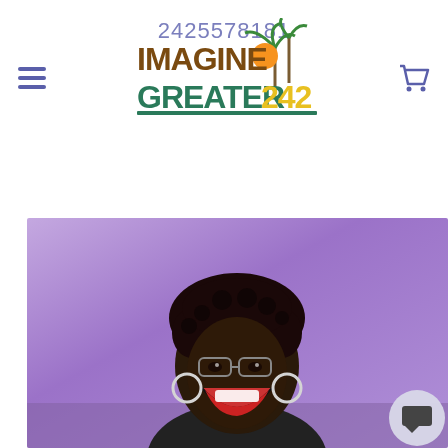2425578181
[Figure (logo): ImagineGreater242 logo with tropical palm tree and orange sun graphic, text in brown/gold and teal colors]
[Figure (photo): Smiling woman with glasses and hoop earrings, short curly hair, laughing joyfully against a purple background, with a chat bubble icon in the bottom right corner]